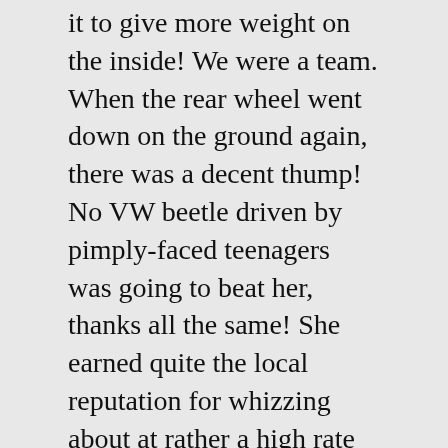it to give more weight on the inside! We were a team. When the rear wheel went down on the ground again, there was a decent thump! No VW beetle driven by pimply-faced teenagers was going to beat her, thanks all the same! She earned quite the local reputation for whizzing about at rather a high rate of knots while in her early forties. Five years later, her Volvo 544 provided a much quicker ride again, and she was a damn smooth gearchanger, all five foot two of her. Never lugged the engine. Never had to look down to see what gear she was in. Rare.
Other than that reality which is on another spectrum anyway and thus an aside, any daydream that men have that their cars would draw comment has I think always been sadly...